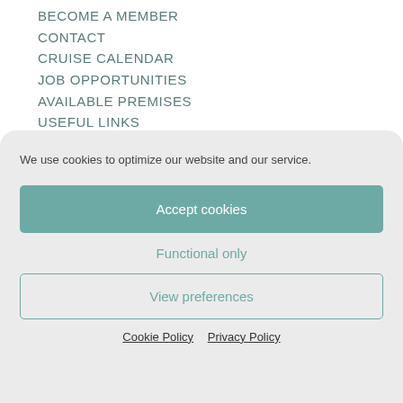BECOME A MEMBER
CONTACT
CRUISE CALENDAR
JOB OPPORTUNITIES
AVAILABLE PREMISES
USEFUL LINKS
We use cookies to optimize our website and our service.
Accept cookies
Functional only
View preferences
Cookie Policy  Privacy Policy